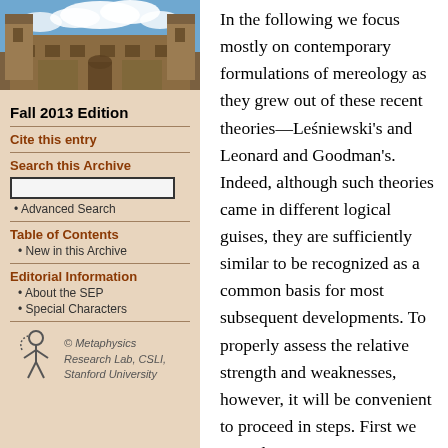[Figure (photo): Photograph of a stone university building with towers and courtyard, blue sky with clouds]
Fall 2013 Edition
Cite this entry
Search this Archive
Advanced Search
Table of Contents
New in this Archive
Editorial Information
About the SEP
Special Characters
[Figure (logo): Metaphysics Research Lab logo with stylized figure]
© Metaphysics Research Lab, CSLI, Stanford University
In the following we focus mostly on contemporary formulations of mereology as they grew out of these recent theories—Leśniewski's and Leonard and Goodman's. Indeed, although such theories came in different logical guises, they are sufficiently similar to be recognized as a common basis for most subsequent developments. To properly assess the relative strength and weaknesses, however, it will be convenient to proceed in steps. First we consider some core mereological notions and principles. Then we proceed to an examination of the stronger theories that can be erected on